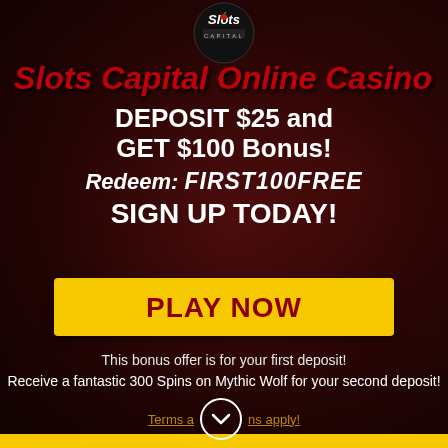[Figure (logo): Slots Capital casino logo — black circle with stylized 'Slots' text and 'CAPITAL' bar]
Slots Capital Online Casino
DEPOSIT $25 and GET $100 Bonus!
Redeem: FIRST100FREE
SIGN UP TODAY!
PLAY NOW
This bonus offer is for your first deposit!
Receive a fantastic 300 Spins on Mythic Wolf for your second deposit!
Terms and Conditions apply!